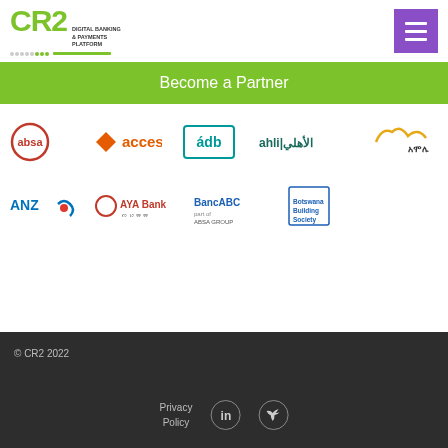[Figure (logo): CR2 Digital Banking & Payments Platform logo with green text and dot pattern]
[Figure (infographic): Purple hamburger menu button]
Become a Partner
[Figure (logo): Partner logos row 1: absa, access, adb, ahli الأهلي, Amole]
[Figure (logo): Partner logos row 2: ANZ, AYA Bank, BancABC, Botswana Building Society]
© CR2 2022
Privacy Policy
[Figure (logo): LinkedIn icon]
[Figure (logo): Twitter icon]